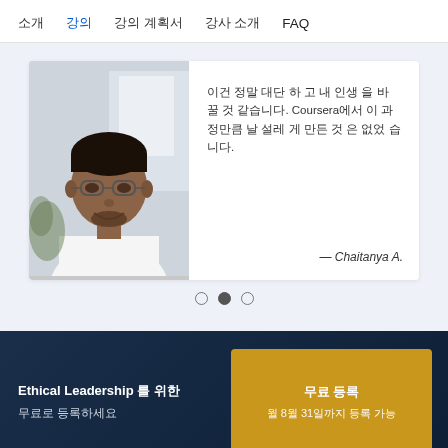소개  강의  강의 계획서  강사 소개  FAQ
[Figure (photo): Testimonial card with photo of young man wearing glasses and white shirt, smiling. Testimonial text in Korean mentioning Coursera, attributed to Chaitanya A.]
이건 정말 대단 하 고 내 인생 을 바 꿀 것 같습니다. Coursera에서 이 과 정만큼 날 설레 게 만든 것 은 없었 습 니다.
— Chaitanya A.
Ethical Leadership 를 위한 무료로 등록하세요
무료 등록
월 8월 31일까지 등록 가능